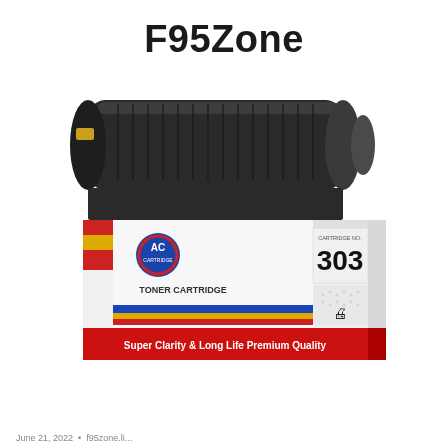F95Zone
[Figure (photo): AC Cartridge toner cartridge No. 303, black toner cartridge sitting on top of its retail box. The box is white with colorful stripes (blue, yellow, red), features the AC Cartridge logo (blue circle with AC text), shows '303' in large bold numbers, 'TONER CARTRIDGE' text, and a banner reading 'Super Clarity & Long Life Premium Quality'.]
June 21, 2022 • f95zone.li...